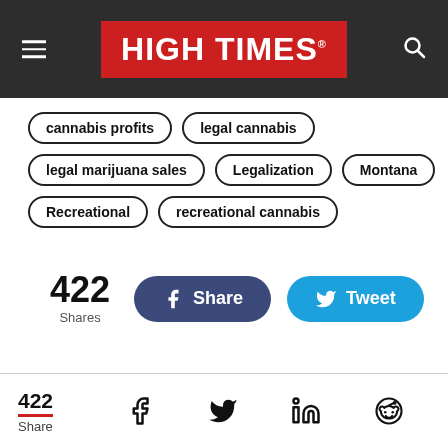HIGH TIMES
cannabis profits
legal cannabis
legal marijuana sales
Legalization
Montana
Recreational
recreational cannabis
422 Shares
Share   Tweet
422 Share